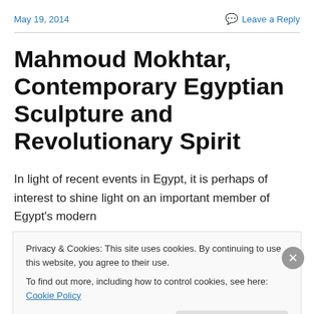May 19, 2014    Leave a Reply
Mahmoud Mokhtar, Contemporary Egyptian Sculpture and Revolutionary Spirit
In light of recent events in Egypt, it is perhaps of interest to shine light on an important member of Egypt's modern
Privacy & Cookies: This site uses cookies. By continuing to use this website, you agree to their use.
To find out more, including how to control cookies, see here: Cookie Policy
Close and accept